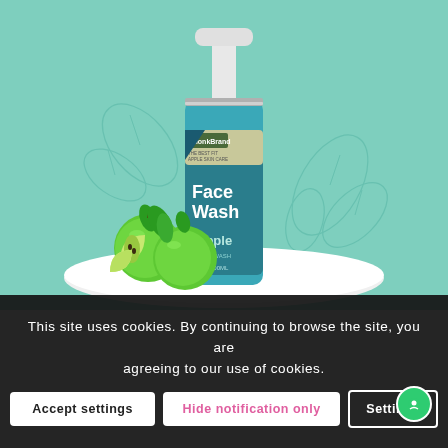[Figure (photo): Product photo of a MonkBrand Apple Face Wash bottle (pump dispenser with teal/blue label showing 'Face Wash' and 'Apple' text) displayed on a white circular platform with green apples arranged beside it, against a mint/teal background with leaf line art decorations.]
This site uses cookies. By continuing to browse the site, you are agreeing to our use of cookies.
Accept settings
Hide notification only
Settings